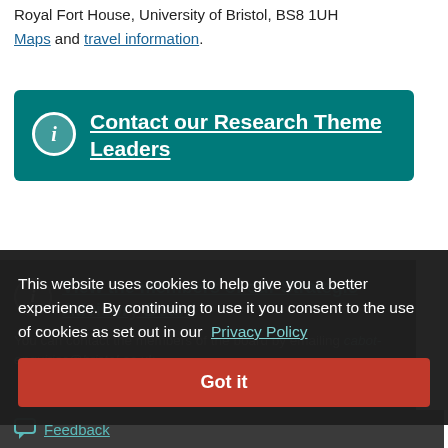Royal Fort House, University of Bristol, BS8 1UH
Maps and travel information.
Contact our Research Theme Leaders
View the members of our Strategic Advisory Board
You can contact the members of the board by emailing cabot-enquiries@bristol.ac.uk.
This website uses cookies to help give you a better experience. By continuing to use it you consent to the use of cookies as set out in our Privacy Policy
Got it
Feedback